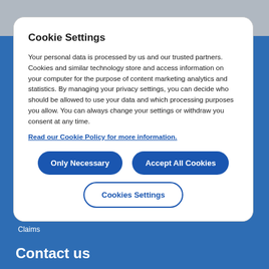Cookie Settings
Your personal data is processed by us and our trusted partners. Cookies and similar technology store and access information on your computer for the purpose of content marketing analytics and statistics. By managing your privacy settings, you can decide who should be allowed to use your data and which processing purposes you allow. You can always change your settings or withdraw you consent at any time.
Read our Cookie Policy for more information.
Only Necessary
Accept All Cookies
Cookies Settings
Claims
Contact us